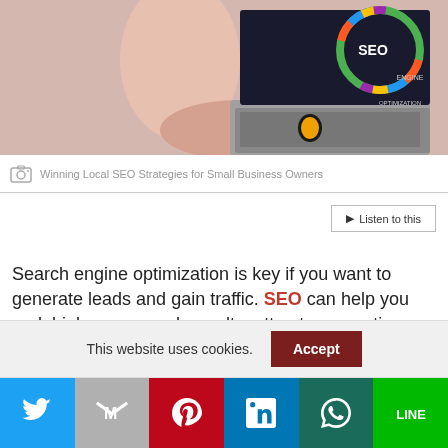[Figure (photo): Person typing on laptop with SEO infographic displayed on screen]
Winning Local SEO Strategies for Small Business Owners
Listen to this
Search engine optimization is key if you want to generate leads and gain traffic. SEO can help you rank higher on search results, attract prospective
This website uses cookies. Accept
[Figure (infographic): Social sharing bar with Twitter, Gmail, Pinterest, LinkedIn, WhatsApp, and Line icons]